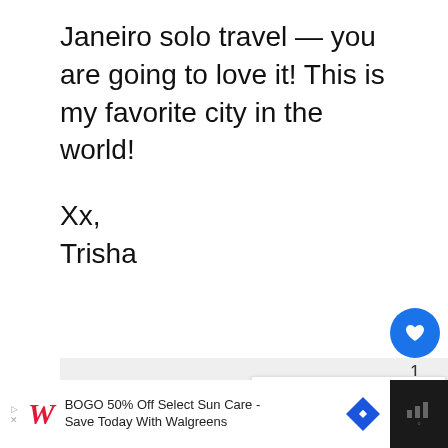Janeiro solo travel — you are going to love it! This is my favorite city in the world!
Xx,
Trisha
[Figure (screenshot): Like button (heart icon, blue circle), count of 1, and share button]
[Figure (screenshot): What's Next panel with thumbnail image and text: Solo travel in Guadalajara:...]
[Figure (screenshot): Advertisement bar: BOGO 50% Off Select Sun Care - Save Today With Walgreens, Walgreens logo]